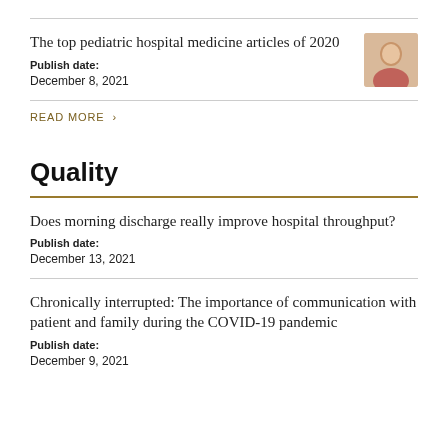The top pediatric hospital medicine articles of 2020
Publish date:
December 8, 2021
READ MORE >
Quality
Does morning discharge really improve hospital throughput?
Publish date:
December 13, 2021
Chronically interrupted: The importance of communication with patient and family during the COVID-19 pandemic
Publish date:
December 9, 2021